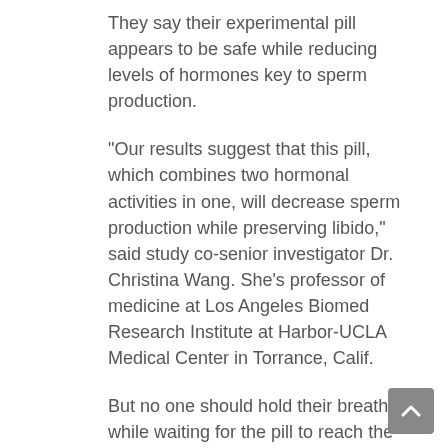They say their experimental pill appears to be safe while reducing levels of hormones key to sperm production.
"Our results suggest that this pill, which combines two hormonal activities in one, will decrease sperm production while preserving libido," said study co-senior investigator Dr. Christina Wang. She's professor of medicine at Los Angeles Biomed Research Institute at Harbor-UCLA Medical Center in Torrance, Calif.
But no one should hold their breath while waiting for the pill to reach the market: "Safe, reversible hormonal male contraception should be available in about 10 years," Wang said in a news release from the Endocrine Society.
Her team presented the findings on Sunday at the society's annual meeting in New Orleans.
The study "shows promise for a future reversible male contraceptive," agreed Dr. Tomer Singer, who directs reproductive endocrinology and infertility at Lenox Hill